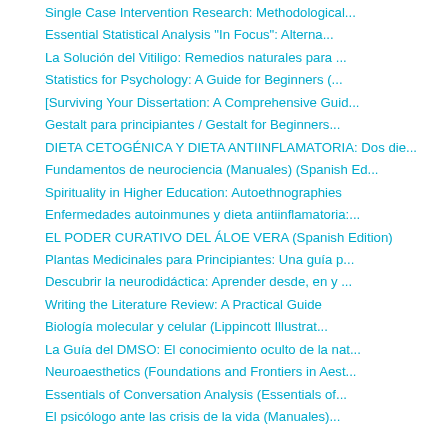Single Case Intervention Research: Methodological...
Essential Statistical Analysis "In Focus": Alterna...
La Solución del Vitiligo: Remedios naturales para ...
Statistics for Psychology: A Guide for Beginners (...
[Surviving Your Dissertation: A Comprehensive Guid...
Gestalt para principiantes / Gestalt for Beginners...
DIETA CETOGÉNICA Y DIETA ANTIINFLAMATORIA: Dos die...
Fundamentos de neurociencia (Manuales) (Spanish Ed...
Spirituality in Higher Education: Autoethnographies
Enfermedades autoinmunes y dieta antiinflamatoria:...
EL PODER CURATIVO DEL ÁLOE VERA (Spanish Edition)
Plantas Medicinales para Principiantes: Una guía p...
Descubrir la neurodidáctica: Aprender desde, en y ...
Writing the Literature Review: A Practical Guide
Biología molecular y celular (Lippincott Illustrat...
La Guía del DMSO: El conocimiento oculto de la nat...
Neuroaesthetics (Foundations and Frontiers in Aest...
Essentials of Conversation Analysis (Essentials of...
El psicólogo ante las crisis de la vida (Manuales)...